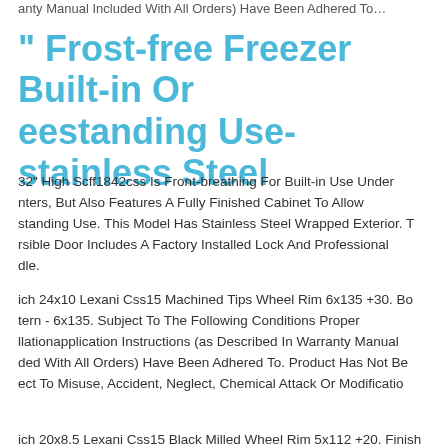anty Manual Included With All Orders) Have Been Adhered To…
" Frost-free Freezer Built-in Or Freestanding Use-stainless Steel
32" High Scff1842css Is Front-breathing For Built-in Use Under Counters, But Also Features A Fully Finished Cabinet To Allow Freestanding Use. This Model Has Stainless Steel Wrapped Exterior. The Reversible Door Includes A Factory Installed Lock And Professional Handle.
ich 24x10 Lexani Css15 Machined Tips Wheel Rim 6x135 +30. Bolt Pattern - 6x135. Subject To The Following Conditions Proper Installationapplication Instructions (as Described In Warranty Manual Included With All Orders) Have Been Adhered To. Product Has Not Been Subject To Misuse, Accident, Neglect, Chemical Attack Or Modification
ich 20x8.5 Lexani Css15 Black Milled Wheel Rim 5x112 +20. Finish…